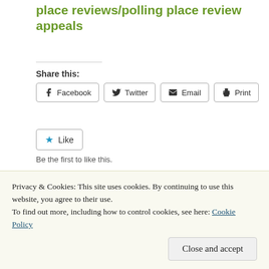place reviews/polling place review appeals
Share this:
Facebook  Twitter  Email  Print
Like
Be the first to like this.
Related
Lords asked to block
We have identified
Privacy & Cookies: This site uses cookies. By continuing to use this website, you agree to their use. To find out more, including how to control cookies, see here: Cookie Policy
Close and accept